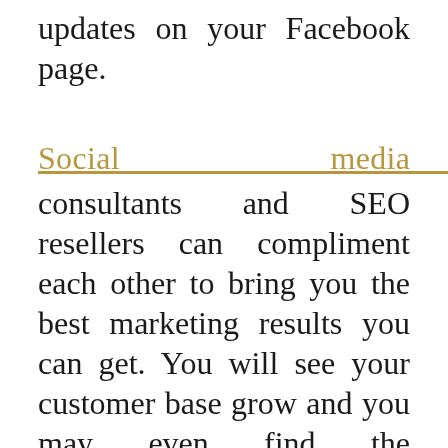updates on your Facebook page.
Social media marketing
consultants and SEO resellers can compliment each other to bring you the best marketing results you can get. You will see your customer base grow and you may even find the inspiration to expand your business. References.